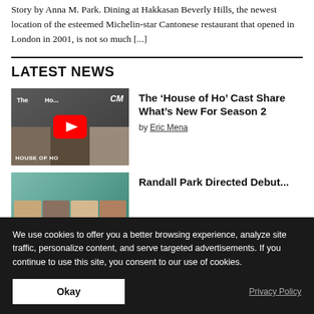Story by Anna M. Park. Dining at Hakkasan Beverly Hills, the newest location of the esteemed Michelin-star Cantonese restaurant that opened in London in 2001, is not so much [...]
LATEST NEWS
[Figure (screenshot): Video thumbnail with YouTube play button for 'House of Ho' featuring cast members. Text overlay reads 'The', 'Ho...', 'CM' logo, 'HOUSE OF HO' label at bottom left.]
The ‘House of Ho’ Cast Share What’s New For Season 2
by Eric Mena
[Figure (photo): Thumbnail showing multiple people's faces against a teal/turquoise background.]
We use cookies to offer you a better browsing experience, analyze site traffic, personalize content, and serve targeted advertisements. If you continue to use this site, you consent to our use of cookies.
Okay
Privacy Policy